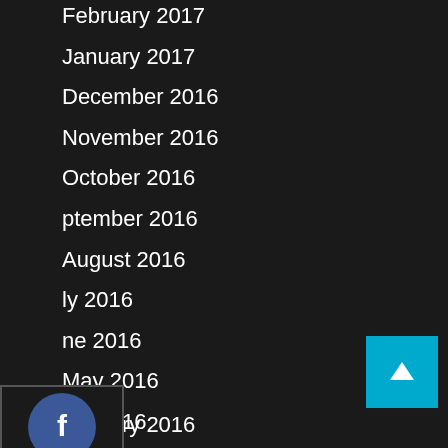February 2017
January 2017
December 2016
November 2016
October 2016
September 2016
August 2016
July 2016
June 2016
May 2016
April 2016
March 2016
February 2016
January 2016
[Figure (infographic): Social media share icons: Facebook (blue circle with f), Twitter (blue circle with bird), Google+ (red circle with g+), LinkedIn (blue circle with in)]